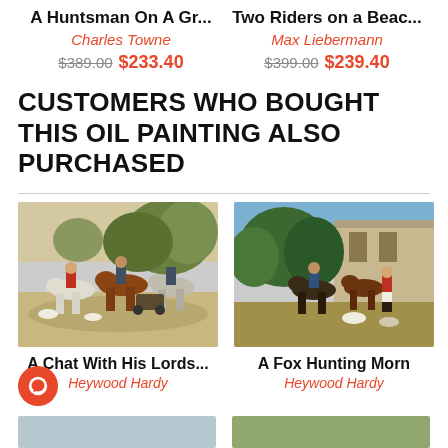A Huntsman On A Gr...
Charles Towne
$389.00  $233.40
Two Riders on a Beac...
Max Liebermann
$399.00  $239.40
CUSTOMERS WHO BOUGHT THIS OIL PAINTING ALSO PURCHASED
[Figure (photo): Painting of huntsmen on horses with dogs on a country road, by Heywood Hardy]
A Chat With His Lords...
Heywood Hardy
[Figure (photo): Painting of fox hunting morning scene with riders and hounds, by Heywood Hardy]
A Fox Hunting Morn
Heywood Hardy